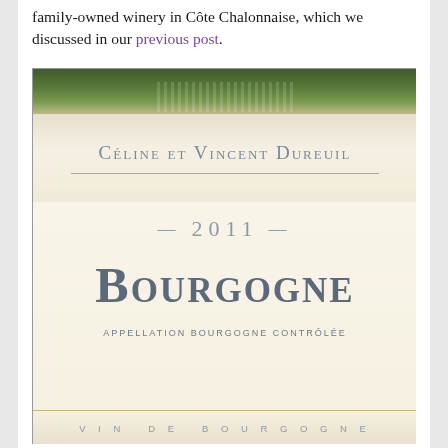family-owned winery in Côte Chalonnaise, which we discussed in our previous post.
[Figure (photo): Close-up photograph of a wine bottle label for Céline et Vincent Dureuil 2011 Bourgogne, Appellation Bourgogne Contrôlée, Vin de Bourgogne. The label has a cream/off-white background with grey-blue lettering.]